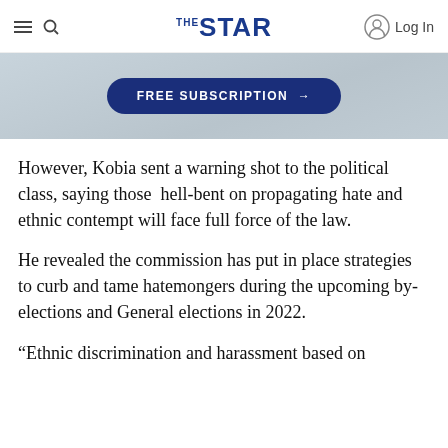THE STAR — Log In
[Figure (other): Banner advertisement with FREE SUBSCRIPTION button on a light grey background]
However, Kobia sent a warning shot to the political class, saying those  hell-bent on propagating hate and ethnic contempt will face full force of the law.
He revealed the commission has put in place strategies to curb and tame hatemongers during the upcoming by-elections and General elections in 2022.
"Ethnic discrimination and harassment based...